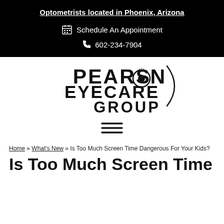Optometrists located in Phoenix, Arizona
Schedule An Appointment
602-234-7904
[Figure (logo): Pearson Eyecare Group logo with stylized eye in the O of Pearson]
[Figure (other): Hamburger menu icon (three horizontal lines)]
Home » What's New » Is Too Much Screen Time Dangerous For Your Kids?
Is Too Much Screen Time